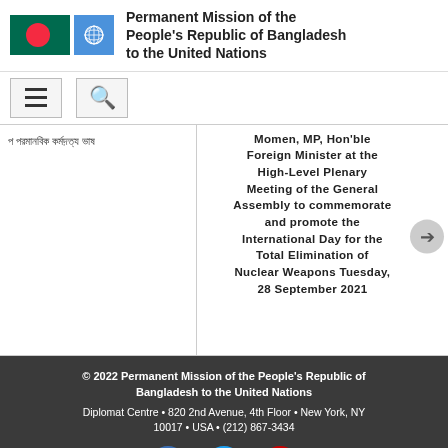Permanent Mission of the People's Republic of Bangladesh to the United Nations
Momen, MP, Hon'ble Foreign Minister at the High-Level Plenary Meeting of the General Assembly to commemorate and promote the International Day for the Total Elimination of Nuclear Weapons Tuesday, 28 September 2021
© 2022 Permanent Mission of the People's Republic of Bangladesh to the United Nations
Diplomat Centre • 820 2nd Avenue, 4th Floor • New York, NY 10017 • USA • (212) 867-3434